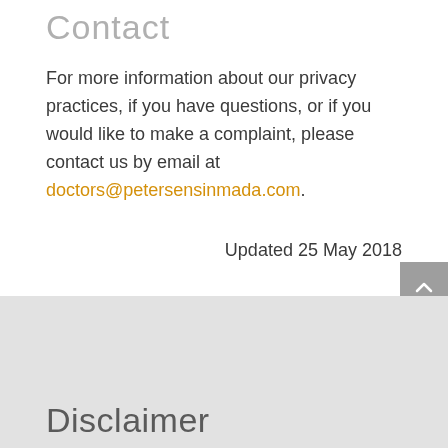Contact
For more information about our privacy practices, if you have questions, or if you would like to make a complaint, please contact us by email at doctors@petersensinmada.com.
Updated 25 May 2018
Disclaimer